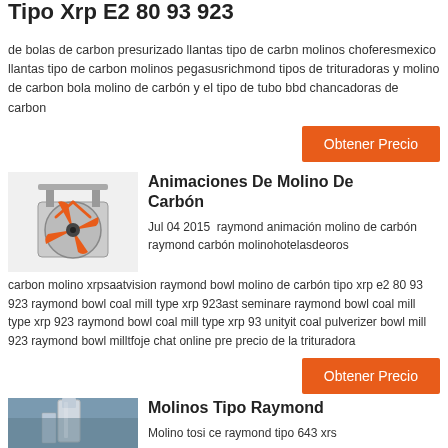Tipo Xrp E2 80 93 923
de bolas de carbon presurizado llantas tipo de carbn molinos choferesmexico llantas tipo de carbon molinos pegasusrichmond tipos de trituradoras y molino de carbon bola molino de carbón y el tipo de tubo bbd chancadoras de carbon
Obtener Precio
[Figure (illustration): Industrial ball mill / crusher machine illustration with orange and grey rotating parts]
Animaciones De Molino De Carbón
Jul 04 2015  raymond animación molino de carbón raymond carbón molinohotelasdeoros carbon molino xrpsaatvision raymond bowl molino de carbón tipo xrp e2 80 93 923 raymond bowl coal mill type xrp 923ast seminare raymond bowl coal mill type xrp 923 raymond bowl coal mill type xrp 93 unityit coal pulverizer bowl mill 923 raymond bowl milltfoje chat online pre precio de la trituradora
Obtener Precio
[Figure (photo): Industrial Raymond mill / vertical mill tower photograph, industrial building interior]
Molinos Tipo Raymond
Molino tosi ce raymond tipo 643 xrs